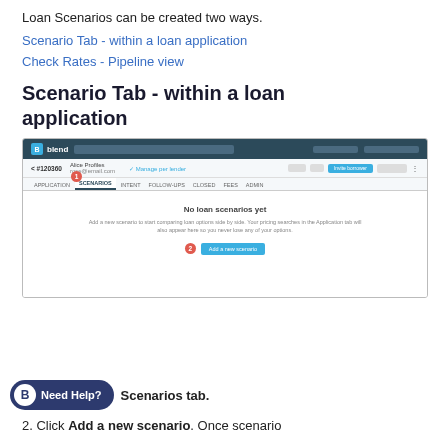Loan Scenarios can be created two ways.
Scenario Tab - within a loan application
Check Rates - Pipeline view
Scenario Tab - within a loan application
[Figure (screenshot): Screenshot of the Blend loan application interface showing the Scenarios tab with 'No loan scenarios yet' message and a numbered annotation pointing to the Scenarios tab (1) and the 'Add a new scenario' button (2).]
Need Help?  Scenarios tab.
2. Click Add a new scenario. Once scenario